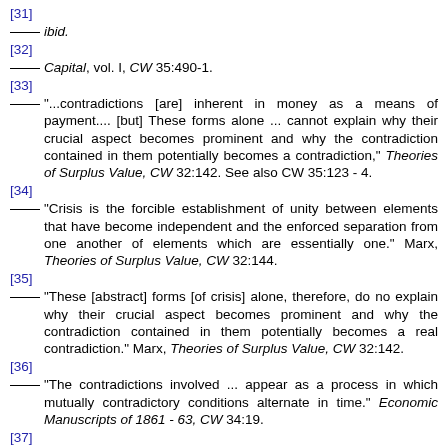[31] ibid.
[32] Capital, vol. I, CW 35:490-1.
[33] "...contradictions [are] inherent in money as a means of payment.... [but] These forms alone ... cannot explain why their crucial aspect becomes prominent and why the contradiction contained in them potentially becomes a contradiction," Theories of Surplus Value, CW 32:142. See also CW 35:123 - 4.
[34] "Crisis is the forcible establishment of unity between elements that have become independent and the enforced separation from one another of elements which are essentially one." Marx, Theories of Surplus Value, CW 32:144.
[35] "These [abstract] forms [of crisis] alone, therefore, do no explain why their crucial aspect becomes prominent and why the contradiction contained in them potentially becomes a real contradiction." Marx, Theories of Surplus Value, CW 32:142.
[36] "The contradictions involved ... appear as a process in which mutually contradictory conditions alternate in time." Economic Manuscripts of 1861 - 63, CW 34:19.
[37] Capital, Vol. III, CW 37:247, translation modified.
[38] "The necessary inner connection of moments belonging together and their mutually indifferent, independent existence are already a foundation of contradictions. However ... contradiction ... has to be grasped more intrinsically than merely as the mutually indifferent and